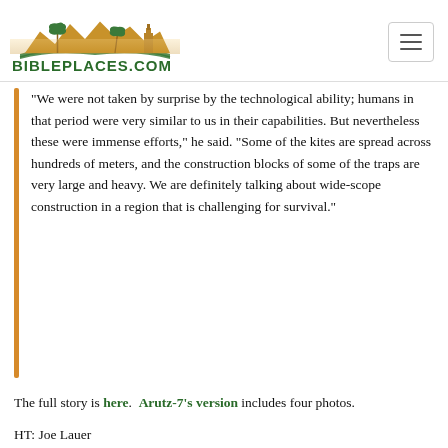BiblePlaces.com
“We were not taken by surprise by the technological ability; humans in that period were very similar to us in their capabilities. But nevertheless these were immense efforts,” he said. “Some of the kites are spread across hundreds of meters, and the construction blocks of some of the traps are very large and heavy. We are definitely talking about wide-scope construction in a region that is challenging for survival.”
The full story is here.  Arutz-7’s version includes four photos.
HT: Joe Lauer
Share: